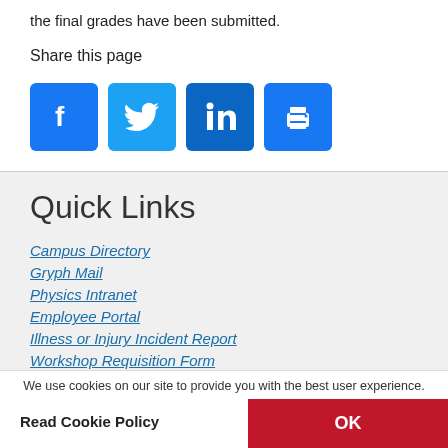the final grades have been submitted.
Share this page
[Figure (infographic): Social sharing icons: Facebook, Twitter, LinkedIn, Print — blue square rounded buttons with white icons]
Quick Links
Campus Directory
Gryph Mail
Physics Intranet
Employee Portal
Illness or Injury Incident Report
Workshop Requisition Form
Poster Boards
We use cookies on our site to provide you with the best user experience.
Read Cookie Policy
OK